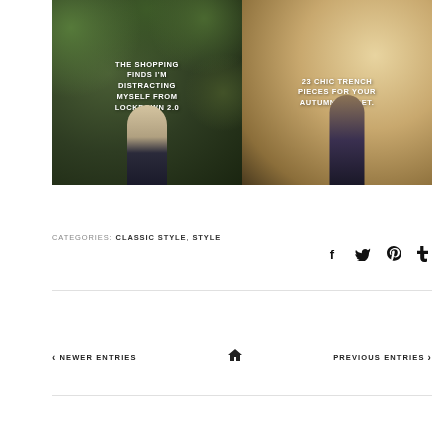[Figure (photo): Two side-by-side blog post thumbnail images. Left: person in floral dress against ivy/hedge background with text overlay 'THE SHOPPING FINDS I'M DISTRACTING MYSELF FROM LOCKDOWN 2.0 WITH.' Right: person in floral skirt in golden field with text overlay '23 CHIC TRENCH PIECES FOR YOUR AUTUMN CLOSET.']
CATEGORIES: CLASSIC STYLE, STYLE
[Figure (infographic): Social share icons: Facebook, Twitter, Pinterest, Tumblr]
< NEWER ENTRIES
[Figure (other): Home icon]
PREVIOUS ENTRIES >